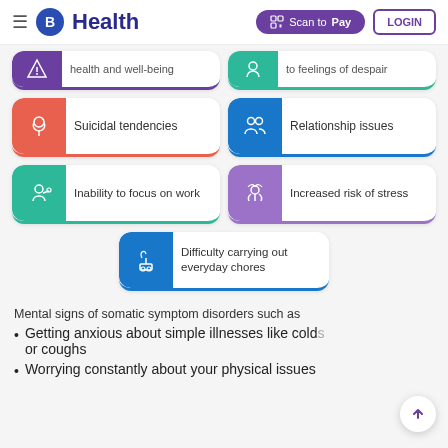B Health | Scan to Pay | LOGIN
health and well-being
to feelings of despair
Suicidal tendencies
Relationship issues
Inability to focus on work
Increased risk of stress
Difficulty carrying out everyday chores
Mental signs of somatic symptom disorders such as
Getting anxious about simple illnesses like colds or coughs
Worrying constantly about your physical issues